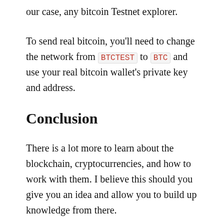our case, any bitcoin Testnet explorer.
To send real bitcoin, you'll need to change the network from BTCTEST to BTC and use your real bitcoin wallet's private key and address.
Conclusion
There is a lot more to learn about the blockchain, cryptocurrencies, and how to work with them. I believe this should you give you an idea and allow you to build up knowledge from there.
If you wish to learn more, I recommend